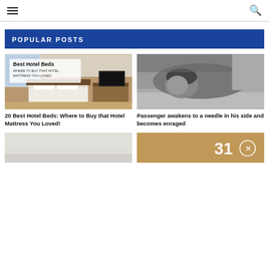navigation header with hamburger menu and search icon
POPULAR POSTS
[Figure (photo): Hotel room image with text overlay reading 'Best Hotel Beds - WHERE TO BUY THAT HOTEL MATTRESS YOU LOVED!']
20 Best Hotel Beds: Where to Buy that Hotel Mattress You Loved!
[Figure (photo): Black and white photo of a person lying down with head on surface, possibly sleeping or distressed]
Passenger awakens to a needle in his side and becomes enraged
[Figure (photo): Partial image of a light gray or white surface, bottom-left post thumbnail]
[Figure (photo): Partial image showing the number 31 and a close/X button, bottom-right post thumbnail]